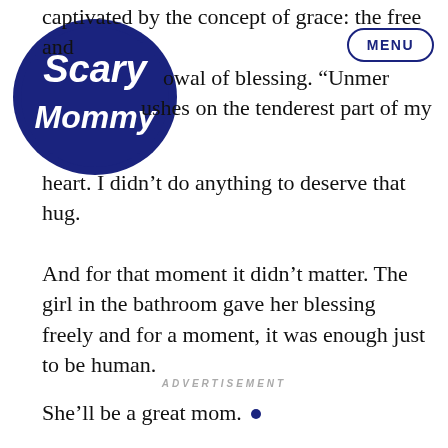Scary Mommy | MENU
captivated by the concept of grace: the free and bestowal of blessing. “Unmer… pushes on the tenderest part of my heart. I didn’t do anything to deserve that hug. And for that moment it didn’t matter. The girl in the bathroom gave her blessing freely and for a moment, it was enough just to be human.
ADVERTISEMENT
She’ll be a great mom. ●